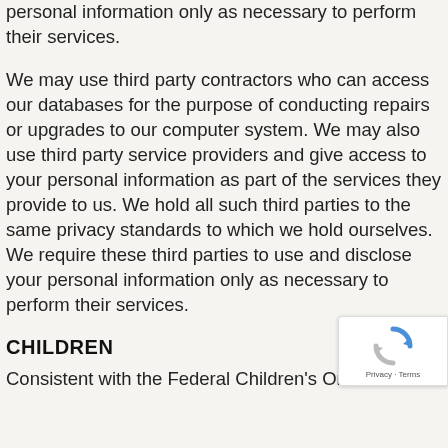personal information only as necessary to perform their services.
We may use third party contractors who can access our databases for the purpose of conducting repairs or upgrades to our computer system. We may also use third party service providers and give access to your personal information as part of the services they provide to us. We hold all such third parties to the same privacy standards to which we hold ourselves. We require these third parties to use and disclose your personal information only as necessary to perform their services.
CHILDREN
Consistent with the Federal Children's Online